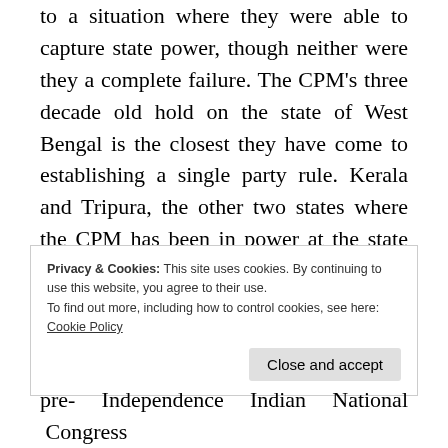to a situation where they were able to capture state power, though neither were they a complete failure. The CPM's three decade old hold on the state of West Bengal is the closest they have come to establishing a single party rule. Kerala and Tripura, the other two states where the CPM has been in power at the state level, have played a sun and shade game with them, keeping the states alternating between Congress and CPM led fronts.
Privacy & Cookies: This site uses cookies. By continuing to use this website, you agree to their use.
To find out more, including how to control cookies, see here:
Cookie Policy
Close and accept
pre- Independence Indian National Congress